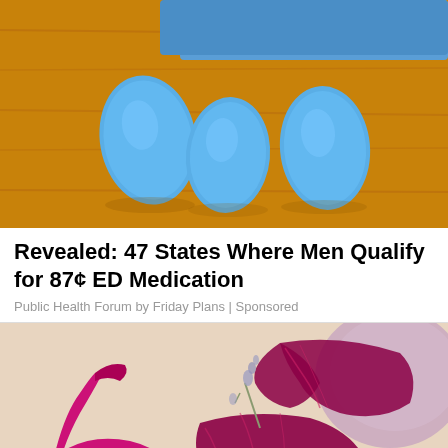[Figure (photo): Blue oval pills on a wooden surface with a blue object partially visible at top]
Revealed: 47 States Where Men Qualify for 87¢ ED Medication
Public Health Forum by Friday Plans | Sponsored
[Figure (photo): Flat lay of magenta/fuchsia lace lingerie set with matching high heel shoes, dried lavender, a small floral card, and a pink fluffy towel on a beige background]